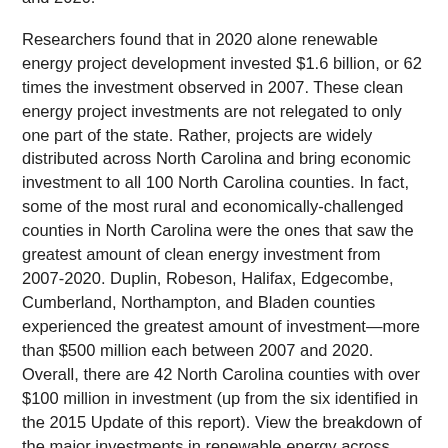investment over the last 14 years occurring in 2019 and 2020.
Researchers found that in 2020 alone renewable energy project development invested $1.6 billion, or 62 times the investment observed in 2007. These clean energy project investments are not relegated to only one part of the state. Rather, projects are widely distributed across North Carolina and bring economic investment to all 100 North Carolina counties. In fact, some of the most rural and economically-challenged counties in North Carolina were the ones that saw the greatest amount of clean energy investment from 2007-2020. Duplin, Robeson, Halifax, Edgecombe, Cumberland, Northampton, and Bladen counties experienced the greatest amount of investment—more than $500 million each between 2007 and 2020. Overall, there are 42 North Carolina counties with over $100 million in investment (up from the six identified in the 2015 Update of this report). View the breakdown of the major investments in renewable energy across North Carolina counties here.